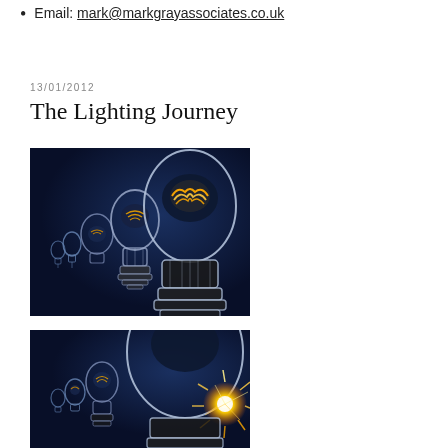Email: mark@markgrayassociates.co.uk
13/01/2012
The Lighting Journey
[Figure (photo): Multiple light bulbs of increasing size arranged in a row against a dark navy blue background, the largest bulb in the foreground showing glowing filaments]
[Figure (photo): Multiple light bulbs of increasing size against a dark navy blue background, with a bright spark/explosion of light visible on the right side]